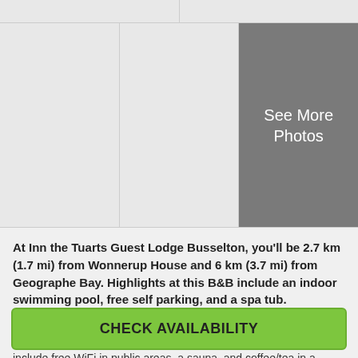[Figure (photo): Top photo strip with two gray placeholder cells]
[Figure (photo): Three-cell photo row. Left and center are gray placeholders. Right cell is dark gray with 'See More Photos' text overlay.]
At Inn the Tuarts Guest Lodge Busselton, you'll be 2.7 km (1.7 mi) from Wonnerup House and 6 km (3.7 mi) from Geographe Bay. Highlights at this B&B include an indoor swimming pool, free self parking, and a spa tub.
A day of pampering can include massages and body scrubs along with aromatherapy and Ayurvedic treatments. Other amenities include free WiFi in public areas, a sauna, and coffee/tea in a common area. Continental breakfast is available daily between 6:30 AM and 9:30 AM.
Read more
CHECK AVAILABILITY